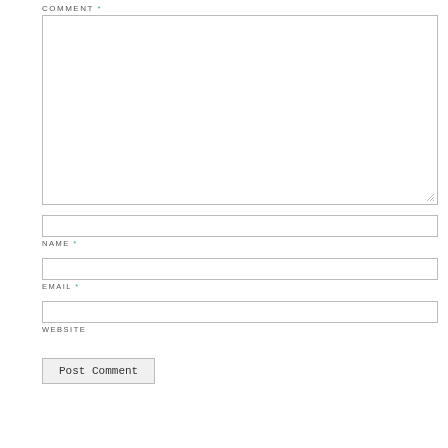COMMENT *
[Figure (screenshot): Comment textarea input box with resize handle]
NAME *
[Figure (screenshot): Name text input box]
EMAIL *
[Figure (screenshot): Email text input box]
WEBSITE
[Figure (screenshot): Website text input box]
Post Comment